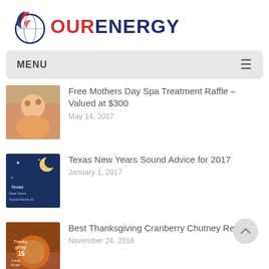[Figure (logo): OurEnergy logo with circular globe icon in red, white and blue, followed by text OURENERGY in red and navy blue]
MENU
Free Mothers Day Spa Treatment Raffle – Valued at $300
May 14, 2017
Texas New Years Sound Advice for 2017
January 1, 2017
Best Thanksgiving Cranberry Chutney Recipe
November 24, 2016
POPULAR POSTS
Summer Energy Saving Tips